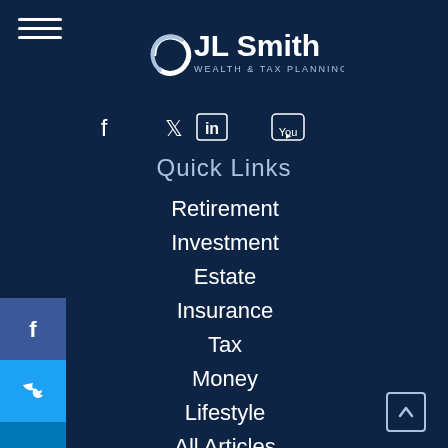[Figure (logo): JL Smith Wealth & Tax Planning logo with circular swirl icon]
[Figure (infographic): Social media icons row: Facebook, Twitter, LinkedIn, YouTube]
Quick Links
Retirement
Investment
Estate
Insurance
Tax
Money
Lifestyle
All Articles
All Videos
All Calculators
All Presentations
[Figure (infographic): Side social bar with Facebook, Twitter, LinkedIn, YouTube buttons]